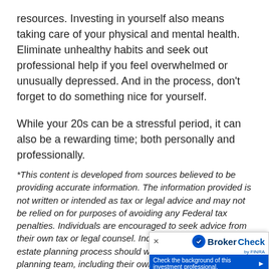resources. Investing in yourself also means taking care of your physical and mental health. Eliminate unhealthy habits and seek out professional help if you feel overwhelmed or unusually depressed. And in the process, don't forget to do something nice for yourself.
While your 20s can be a stressful period, it can also be a rewarding time; both personally and professionally.
*This content is developed from sources believed to be providing accurate information. The information provided is not written or intended as tax or legal advice and may not be relied on for purposes of avoiding any Federal tax penalties. Individuals are encouraged to seek advice from their own tax or legal counsel. Individuals involved in the estate planning process should work with an estate planning team, including their own personal le...